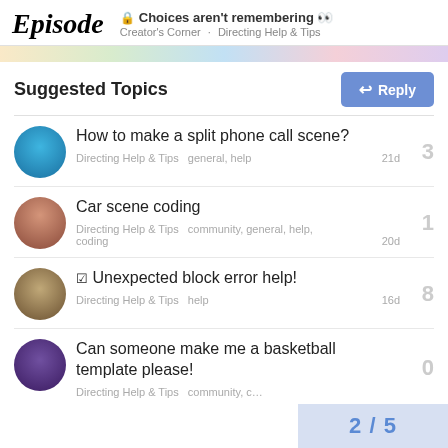Episode | 🔒 Choices aren't remembering 👀 | Creator's Corner · Directing Help & Tips
Suggested Topics
How to make a split phone call scene? — Directing Help & Tips, general, help — 3 replies — 21d
Car scene coding — Directing Help & Tips, community, general, help, coding — 1 reply — 20d
☑ Unexpected block error help! — Directing Help & Tips, help — 8 replies — 16d
Can someone make me a basketball template please! — Directing Help & Tips, community, … — 0 replies
2 / 5